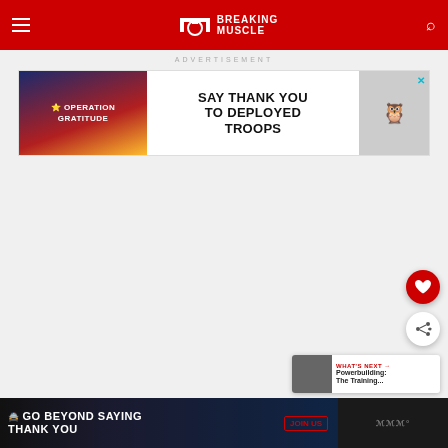Breaking Muscle
ADVERTISEMENT
[Figure (screenshot): Operation Gratitude advertisement banner: SAY THANK YOU TO DEPLOYED TROOPS with patriotic imagery and owl mascot]
[Figure (screenshot): Bottom banner advertisement: GO BEYOND SAYING THANK YOU - Operation Gratitude JOIN US banner]
WHAT'S NEXT → Powerbuilding: The Training...